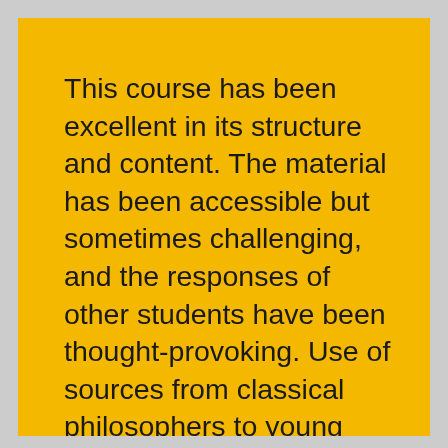This course has been excellent in its structure and content. The material has been accessible but sometimes challenging, and the responses of other students have been thought-provoking. Use of sources from classical philosophers to young people today have enlivened the learning process. Of particular interest has been the discussion on how humanists approach the construction(s) of moral values. Thank you, course team – this is the best on-line course I have done so far. I have learned a lot and/or been able to name what I already knew. I can now very happily ascribe a positive name to my long-held beliefs. I am a